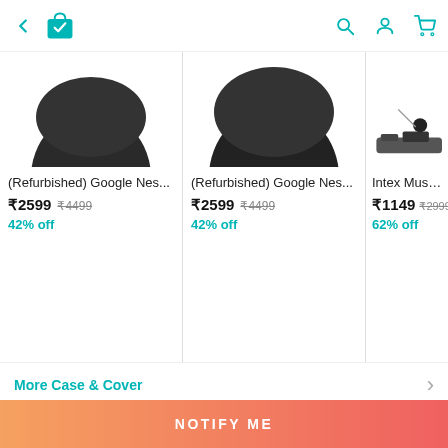[Figure (screenshot): Mobile app top navigation bar with back arrow, shopping bag with checkmark icon, search icon, user profile icon, and cart icon, all in teal color]
[Figure (screenshot): Product card: (Refurbished) Google Nes... showing price ₹2599, original price ₹4499 struck through, 42% off in teal]
[Figure (screenshot): Product card: (Refurbished) Google Nes... showing price ₹2599, original price ₹4499 struck through, 42% off in teal]
[Figure (screenshot): Product card: Intex Musique showing price ₹1149, original price ₹2999 struck through, 62% off in teal]
More Case & Cover
NOTIFY ME